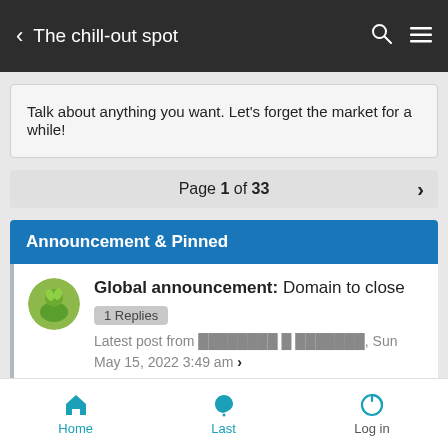The chill-out spot
Talk about anything you want. Let's forget the market for a while!
Page 1 of 33
Announcement & Pinned
Global announcement: Domain to close  1 Replies
Latest post from ████████ █ ███████, Sun May 15, 2022 3:49 am
Home  Last  Log in